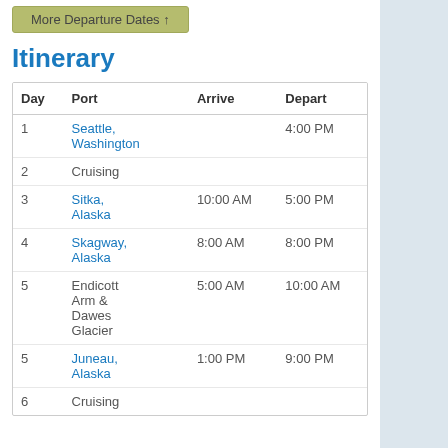[Figure (other): Button labeled 'More Departure Dates' with olive/yellow-green background]
Itinerary
| Day | Port | Arrive | Depart |
| --- | --- | --- | --- |
| 1 | Seattle, Washington |  | 4:00 PM |
| 2 | Cruising |  |  |
| 3 | Sitka, Alaska | 10:00 AM | 5:00 PM |
| 4 | Skagway, Alaska | 8:00 AM | 8:00 PM |
| 5 | Endicott Arm & Dawes Glacier | 5:00 AM | 10:00 AM |
| 5 | Juneau, Alaska | 1:00 PM | 9:00 PM |
| 6 | Cruising |  |  |